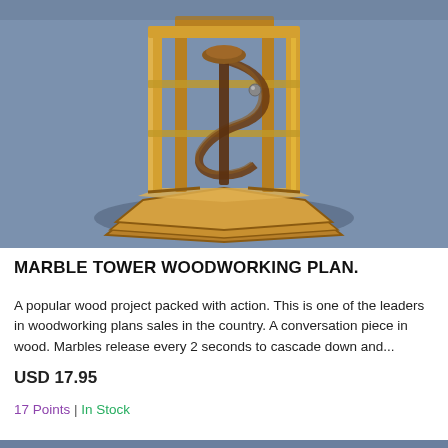[Figure (photo): A wooden marble tower woodworking project on a blue background. The structure has a hexagonal wooden base with tall vertical wooden posts supporting a spiral ramp mechanism for marbles.]
MARBLE TOWER WOODWORKING PLAN.
A popular wood project packed with action. This is one of the leaders in woodworking plans sales in the country. A conversation piece in wood. Marbles release every 2 seconds to cascade down and...
USD 17.95
17 Points | In Stock